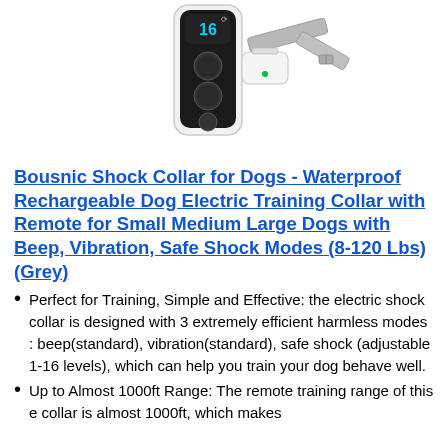[Figure (photo): Product photo showing a white remote control device with a black face and circular buttons displaying '16' on screen, alongside a grey dog collar receiver with metal mesh strap]
Bousnic Shock Collar for Dogs - Waterproof Rechargeable Dog Electric Training Collar with Remote for Small Medium Large Dogs with Beep, Vibration, Safe Shock Modes (8-120 Lbs) (Grey)
Perfect for Training, Simple and Effective: the electric shock collar is designed with 3 extremely efficient harmless modes : beep(standard), vibration(standard), safe shock (adjustable 1-16 levels), which can help you train your dog behave well.
Up to Almost 1000ft Range: The remote training range of this e collar is almost 1000ft, which makes